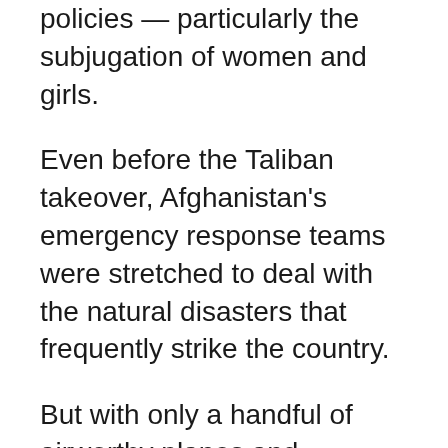policies — particularly the subjugation of women and girls.
Even before the Taliban takeover, Afghanistan's emergency response teams were stretched to deal with the natural disasters that frequently strike the country.
But with only a handful of airworthy planes and helicopters left since the Taliban returned to power, any immediate response to the latest catastrophe is further limited.
Karim Nyazai was in the provincial capital and returned immediately to find his village devastated and 22 members of his extended family dead.